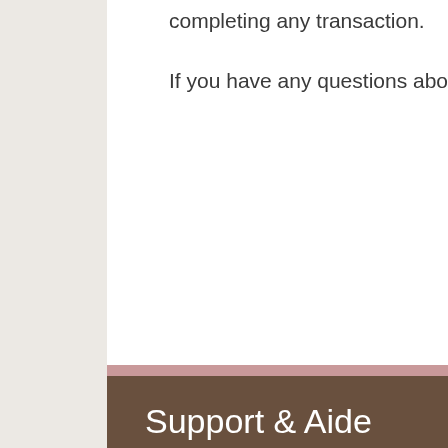completing any transaction.

If you have any questions about this Privacy Policy, please contact us.
Support & Aide
Suivre Ma Commande
Contactez-Nous
Politique De Confidentialité
Livraison
Mon Compte
PolyCats